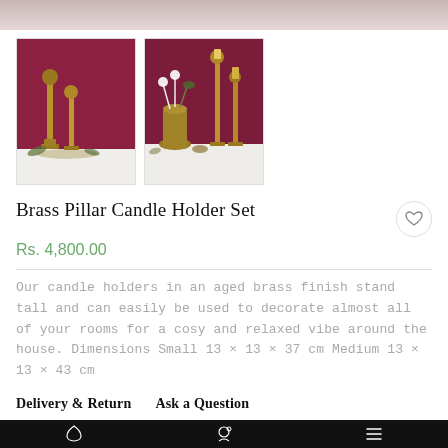[Figure (photo): Top banner with pinkish-beige gradient background, partial product image visible]
[Figure (photo): Thumbnail 1: Two tall brass pillar candle holders against a dark red/maroon wall background on a white surface]
[Figure (photo): Thumbnail 2: Set of brass pillar candle holders of varying heights with a gold vase of white flowers against a dark red wall]
Brass Pillar Candle Holder Set
Rs. 4,800.00
Our candle holders in an aged brass finish stand tall and can easily be used to decorate almost all of your rooms for a cosy and relaxed vibe around the house. Dimensions Small 13 x 13 x 37 cm Medium 13 x 13 x 43 cm
Delivery & Return   Ask a Question